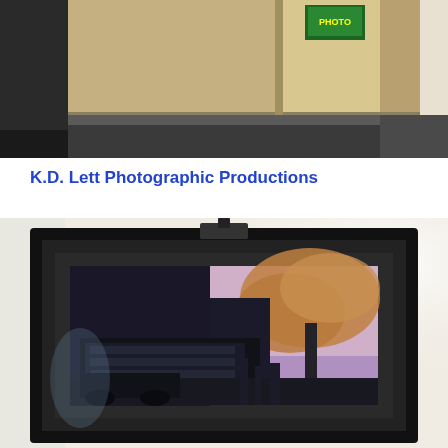[Figure (photo): Interior of an art gallery or exhibition space showing beige/tan walls with artwork hung on the wall in the background, a black divider or partition on the left, and a curved hallway or opening in the center. The room has a dark floor.]
K.D. Lett Photographic Productions
[Figure (photo): A framed photograph displayed on an easel. The photograph inside the black frame shows an industrial scene — a large building or factory with smoke or steam billowing from a chimney against a purple/pink twilight sky. The scene appears to depict a steam locomotive or industrial facility at dusk.]